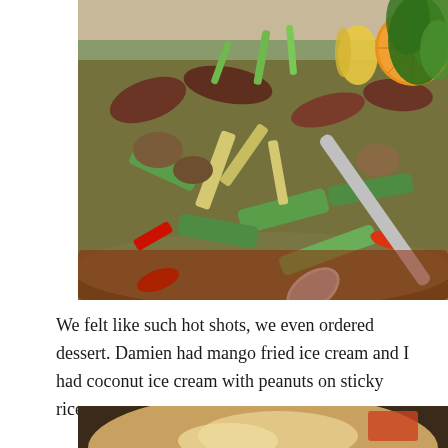[Figure (photo): A close-up photo of a Thai stir-fry dish in a white bowl with a dark rim, containing sliced beef, green beans, snap peas, red peppers, bamboo shoots, mushrooms, baby corn, and garnished with an orange slice and curly kale. A silver spoon rests in the dish.]
We felt like such hot shots, we even ordered dessert. Damien had mango fried ice cream and I had coconut ice cream with peanuts on sticky rice.
[Figure (photo): Bottom portion of a second food photo, partially visible, showing what appears to be a dessert dish.]